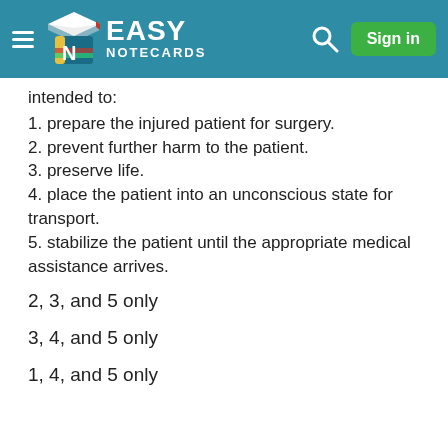Easy Notecards — Sign in
intended to:
1. prepare the injured patient for surgery.
2. prevent further harm to the patient.
3. preserve life.
4. place the patient into an unconscious state for transport.
5. stabilize the patient until the appropriate medical assistance arrives.
2, 3, and 5 only
3, 4, and 5 only
1, 4, and 5 only